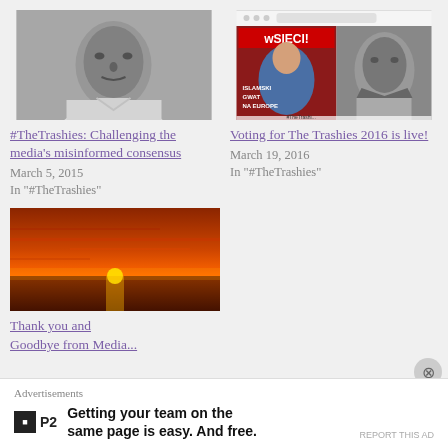[Figure (photo): Black and white portrait photo of a man]
#TheTrashies: Challenging the media's misinformed consensus
March 5, 2015
In "#TheTrashies"
[Figure (photo): Magazine cover wSIECI with headline and a black and white portrait photo]
Voting for The Trashies 2016 is live!
March 19, 2016
In "#TheTrashies"
[Figure (photo): Sunset over the ocean with orange and red sky]
Thank you and Goodbye from Media...
Advertisements
[Figure (logo): P2 logo - black square with P2 text]
Getting your team on the same page is easy. And free.